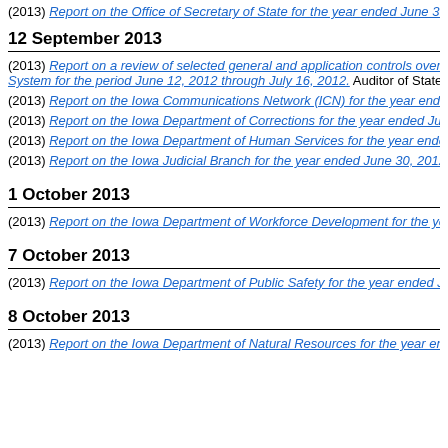(2013) Report on the Office of Secretary of State for the year ended June 30...
12 September 2013
(2013) Report on a review of selected general and application controls over the System for the period June 12, 2012 through July 16, 2012. Auditor of State
(2013) Report on the Iowa Communications Network (ICN) for the year ended...
(2013) Report on the Iowa Department of Corrections for the year ended Jun...
(2013) Report on the Iowa Department of Human Services for the year ended...
(2013) Report on the Iowa Judicial Branch for the year ended June 30, 2012.
1 October 2013
(2013) Report on the Iowa Department of Workforce Development for the ye...
7 October 2013
(2013) Report on the Iowa Department of Public Safety for the year ended Ju...
8 October 2013
(2013) Report on the Iowa Department of Natural Resources for the year ended...